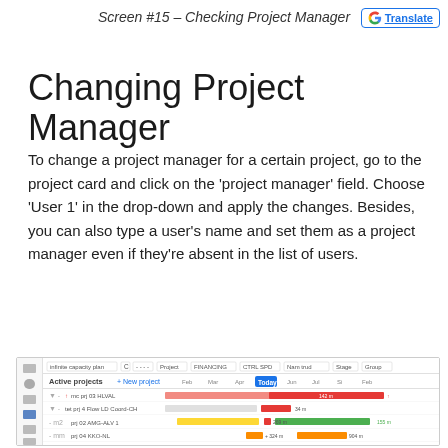Screen #15 – Checking Project Manager
Changing Project Manager
To change a project manager for a certain project, go to the project card and click on the 'project manager' field. Choose 'User 1' in the drop-down and apply the changes. Besides, you can also type a user's name and set them as a project manager even if they're absent in the list of users.
[Figure (screenshot): Screenshot of a project management Gantt chart interface showing active projects with colored timeline bars (red, green, yellow, orange, blue) spanning across months. The interface shows an 'infinite capacity plan' tool with multiple project rows including project names and resource allocations.]